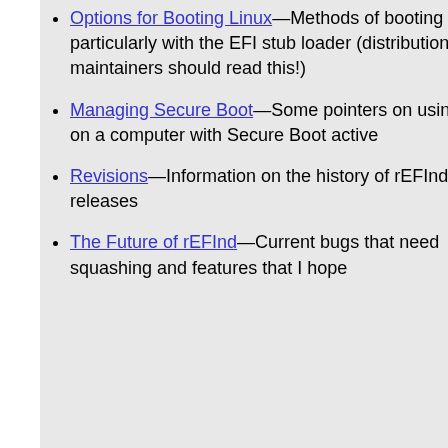Options for Booting Linux—Methods of booting Linux, particularly with the EFI stub loader (distribution maintainers should read this!)
Managing Secure Boot—Some pointers on using rEFInd on a computer with Secure Boot active
Revisions—Information on the history of rEFInd releases
The Future of rEFInd—Current bugs that need squashing and features that I hope